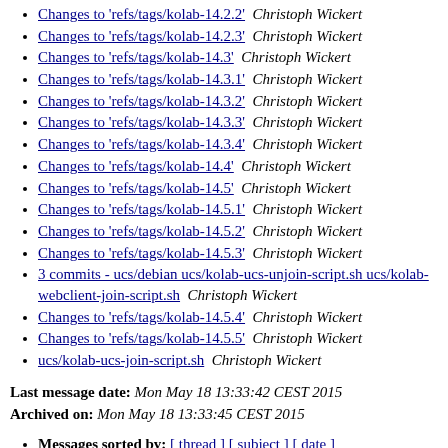Changes to 'refs/tags/kolab-14.2.2'  Christoph Wickert
Changes to 'refs/tags/kolab-14.2.3'  Christoph Wickert
Changes to 'refs/tags/kolab-14.3'  Christoph Wickert
Changes to 'refs/tags/kolab-14.3.1'  Christoph Wickert
Changes to 'refs/tags/kolab-14.3.2'  Christoph Wickert
Changes to 'refs/tags/kolab-14.3.3'  Christoph Wickert
Changes to 'refs/tags/kolab-14.3.4'  Christoph Wickert
Changes to 'refs/tags/kolab-14.4'  Christoph Wickert
Changes to 'refs/tags/kolab-14.5'  Christoph Wickert
Changes to 'refs/tags/kolab-14.5.1'  Christoph Wickert
Changes to 'refs/tags/kolab-14.5.2'  Christoph Wickert
Changes to 'refs/tags/kolab-14.5.3'  Christoph Wickert
3 commits - ucs/debian ucs/kolab-ucs-unjoin-script.sh ucs/kolab-webclient-join-script.sh  Christoph Wickert
Changes to 'refs/tags/kolab-14.5.4'  Christoph Wickert
Changes to 'refs/tags/kolab-14.5.5'  Christoph Wickert
ucs/kolab-ucs-join-script.sh  Christoph Wickert
Last message date: Mon May 18 13:33:42 CEST 2015
Archived on: Mon May 18 13:33:45 CEST 2015
Messages sorted by: [ thread ] [ subject ] [ date ]
More info on this list...
This archive was generated by Pipermail 0.09 (Mailman edition),